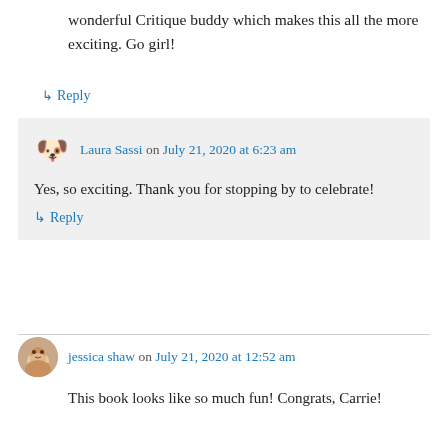wonderful Critique buddy which makes this all the more exciting. Go girl!
↳ Reply
Laura Sassi on July 21, 2020 at 6:23 am
Yes, so exciting. Thank you for stopping by to celebrate!
↳ Reply
jessica shaw on July 21, 2020 at 12:52 am
This book looks like so much fun! Congrats, Carrie!